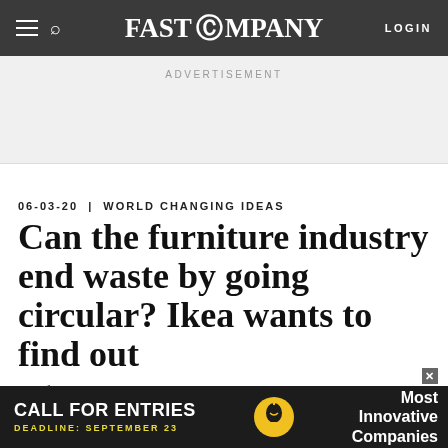FAST COMPANY | LOGIN
ADVERTISEMENT
06-03-20 | WORLD CHANGING IDEAS
Can the furniture industry end waste by going circular? Ikea wants to find out
The furniture giant is trying to remake its own operations to encourage durability, repairability, and resale of used furniture. And now it wants to help other furniture companies do the same.
[Figure (screenshot): Bottom advertisement banner: CALL FOR ENTRIES, DEADLINE: SEPTEMBER 23, Most Innovative Companies, with a lightbulb icon]